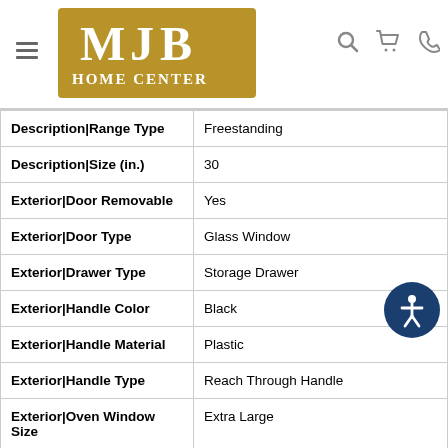MJB Home Center
| Attribute | Value |
| --- | --- |
| Description|Range Type | Freestanding |
| Description|Size (in.) | 30 |
| Exterior|Door Removable | Yes |
| Exterior|Door Type | Glass Window |
| Exterior|Drawer Type | Storage Drawer |
| Exterior|Handle Color | Black |
| Exterior|Handle Material | Plastic |
| Exterior|Handle Type | Reach Through Handle |
| Exterior|Oven Window Size | Extra Large |
| Controls|Display | Green |